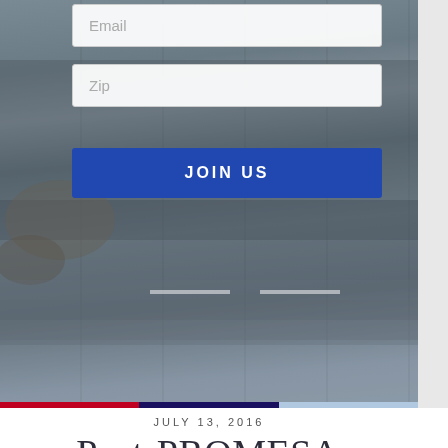[Figure (screenshot): Background photo of a highway/road infrastructure scene, partially obscured by form overlay]
Email
Zip
JOIN US
JULY 13, 2016
Post-PROMESA Passage: Focus On Growing Puerto Rico's Economy Emerges